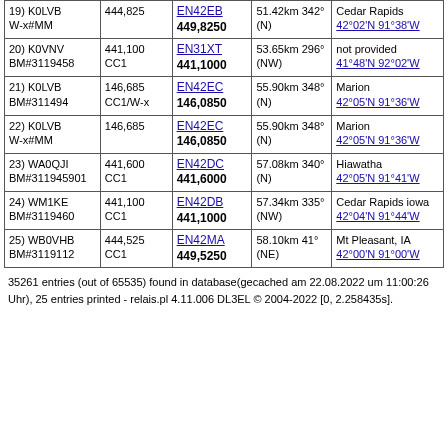| Call / ID | Freq / Mode | Grid / Output | Distance / Dir | Location / Coords |
| --- | --- | --- | --- | --- |
| 19) K0LVB
W-x#MM | 444,825 | EN42EB
449,8250 | 51.42km 342°
(N) | Cedar Rapids
42°02'N 91°38'W |
| 20) K0VNV
BM#3119458 | 441,100
CC1 | EN31XT
441,1000 | 53.65km 296°
(NW) | not provided
41°48'N 92°02'W |
| 21) K0LVB
BM#311494 | 146,685
CC1/W-x | EN42EC
146,0850 | 55.90km 348°
(N) | Marion
42°05'N 91°36'W |
| 22) K0LVB
W-x#MM | 146,685 | EN42EC
146,0850 | 55.90km 348°
(N) | Marion
42°05'N 91°36'W |
| 23) WA0QJI
BM#311945901 | 441,600
CC1 | EN42DC
441,6000 | 57.08km 340°
(N) | Hiawatha
42°05'N 91°41'W |
| 24) WM1KE
BM#3119460 | 441,100
CC1 | EN42DB
441,1000 | 57.34km 335°
(NW) | Cedar Rapids iowa
42°04'N 91°44'W |
| 25) WB0VHB
BM#3119112 | 444,525
CC1 | EN42MA
449,5250 | 58.10km 41°
(NE) | Mt Pleasant, IA
42°00'N 91°00'W |
35261 entries (out of 65535) found in database(gecached am 22.08.2022 um 11:00:26 Uhr), 25 entries printed - relais.pl 4.11.006 DL3EL © 2004-2022 [0, 2.258435s].